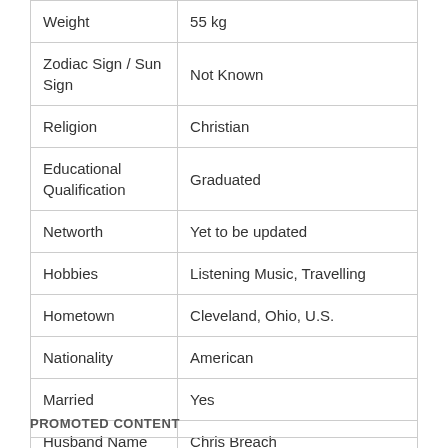|  |  |
| --- | --- |
| Weight | 55 kg |
| Zodiac Sign / Sun Sign | Not Known |
| Religion | Christian |
| Educational Qualification | Graduated |
| Networth | Yet to be updated |
| Hobbies | Listening Music, Travelling |
| Hometown | Cleveland, Ohio, U.S. |
| Nationality | American |
| Married | Yes |
| Husband Name | Chris Breach |
| Current City | USA |
PROMOTED CONTENT